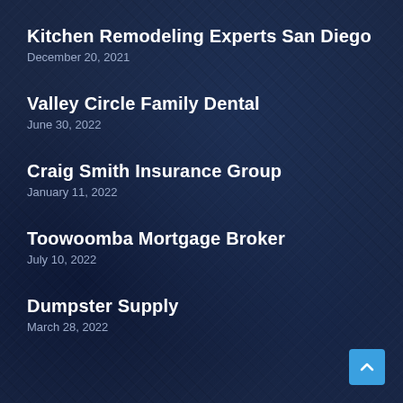Kitchen Remodeling Experts San Diego
December 20, 2021
Valley Circle Family Dental
June 30, 2022
Craig Smith Insurance Group
January 11, 2022
Toowoomba Mortgage Broker
July 10, 2022
Dumpster Supply
March 28, 2022